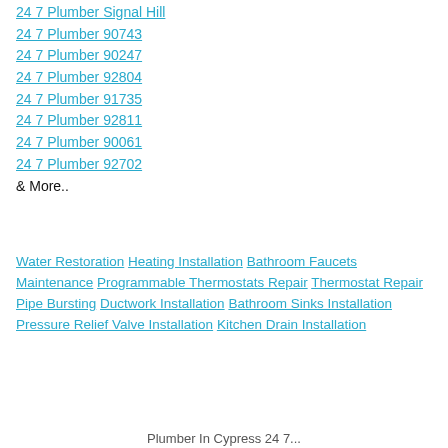24 7 Plumber Signal Hill
24 7 Plumber 90743
24 7 Plumber 90247
24 7 Plumber 92804
24 7 Plumber 91735
24 7 Plumber 92811
24 7 Plumber 90061
24 7 Plumber 92702
& More..
Water Restoration Heating Installation Bathroom Faucets Maintenance Programmable Thermostats Repair Thermostat Repair Pipe Bursting Ductwork Installation Bathroom Sinks Installation Pressure Relief Valve Installation Kitchen Drain Installation
Plumber In Cypress 24 7...